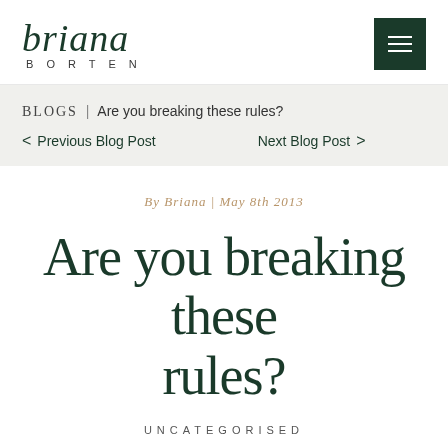[Figure (logo): Briana Borten script logo with 'BORTEN' in spaced uppercase beneath]
BLOGS | Are you breaking these rules?
< Previous Blog Post   Next Blog Post >
By Briana | May 8th 2013
Are you breaking these rules?
UNCATEGORISED